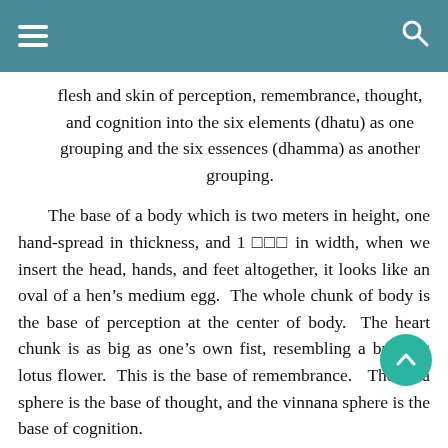flesh and skin of perception, remembrance, thought, and cognition into the six elements (dhatu) as one grouping and the six essences (dhamma) as another grouping.
The base of a body which is two meters in height, one hand-spread in thickness, and 1 □□□ in width, when we insert the head, hands, and feet altogether, it looks like an oval of a hen’s medium egg. The whole chunk of body is the base of perception at the center of body. The heart chunk is as big as one’s own fist, resembling a budding lotus flower. This is the base of remembrance. The citta sphere is the base of thought, and the vinnana sphere is the base of cognition.
The perception element is located at the center of body. It